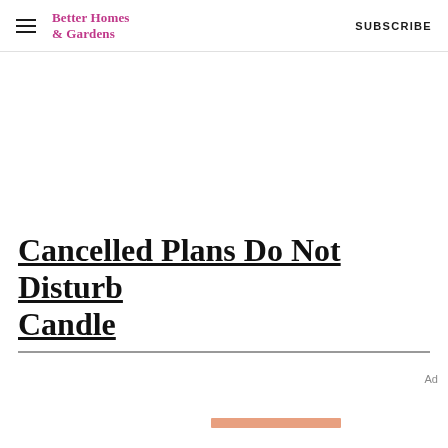Better Homes & Gardens  SUBSCRIBE
Cancelled Plans Do Not Disturb Candle
Ad